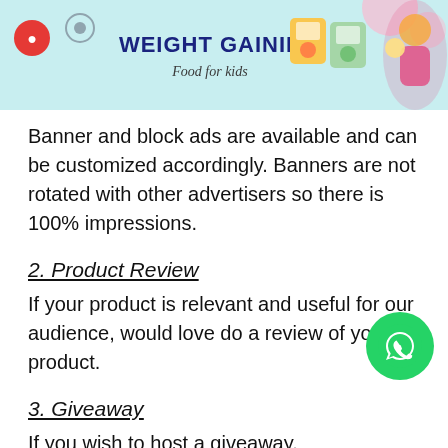[Figure (illustration): Banner advertisement for weight gaining food for kids, showing icons, bold title 'WEIGHT GAINING', subtitle 'Food for kids', product packages and a woman with a baby on a teal background.]
Banner and block ads are available and can be customized accordingly. Banners are not rotated with other advertisers so there is 100% impressions.
2. Product Review
If your product is relevant and useful for our audience, would love do a review of your product.
3. Giveaway
If you wish to host a giveaway, MyLittleMoppe the right place for it.
Write to us for rates and availability.